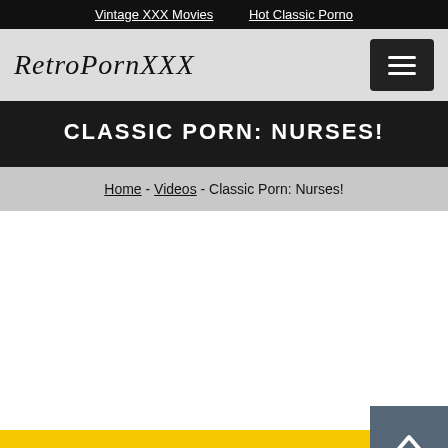Vintage XXX Movies   Hot Classic Porno
RetroPornXXX
CLASSIC PORN: NURSES!
Home - Videos - Classic Porn: Nurses!
Watch fullscreen